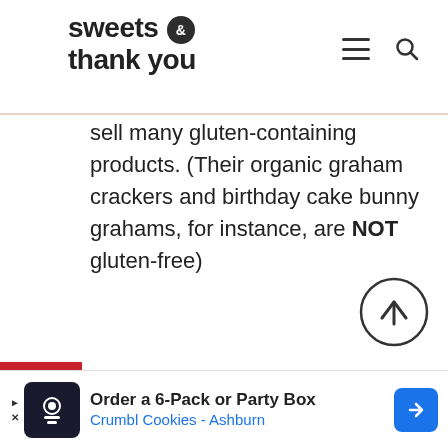sweets & thank you
sell many gluten-containing products. (Their organic graham crackers and birthday cake bunny grahams, for instance, are NOT gluten-free)
[Figure (infographic): Social media sharing sidebar with Pinterest, Facebook, Twitter, and Yummly buttons]
[Figure (other): Back to top circular arrow button]
[Figure (other): Advertisement banner: Order a 6-Pack or Party Box – Crumbl Cookies – Ashburn]